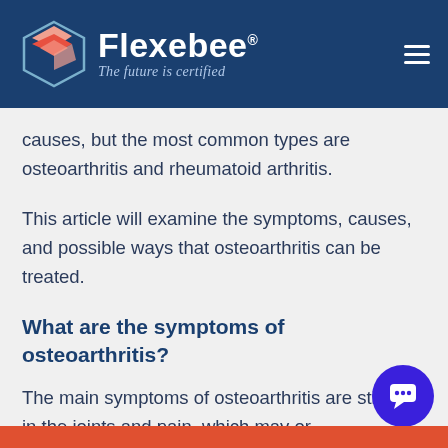[Figure (logo): Flexebee logo with hexagon icon and tagline 'The future is certified' on dark blue header background]
causes, but the most common types are osteoarthritis and rheumatoid arthritis.
This article will examine the symptoms, causes, and possible ways that osteoarthritis can be treated.
What are the symptoms of osteoarthritis?
The main symptoms of osteoarthritis are stiffness in the joints and pain, which may or